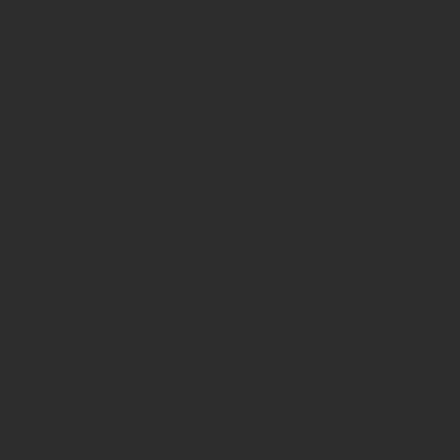* Death Mountain - In the a
* North Zora's River - Nort
* North Faron Woods - Afte prior to the Sacred Grotto's
* Lake Hylia - Climb the la
* Snowpeak - You'll find it buried entrance.
* Hidden Village - Break th
Golden Wolf Locations (in
1. Ordona Province - In the
2. Castle Town - On a pillar
3. Castle Town - In the field the left side.
4. Gerudo Desert - Northea
5. Kakariko Village - Near k
6. North Castle Town - Nea
... really hoped this helped!
Posted: jun 19, 2009 2:30 am